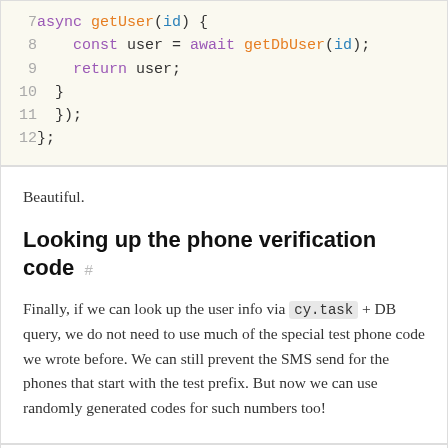[Figure (screenshot): Code block showing lines 7-12 of JavaScript code with syntax highlighting. Line 7: async getUser(id) {, Line 8: const user = await getDbUser(id);, Line 9: return user;, Line 10: }, Line 11: });, Line 12: };]
Beautiful.
Looking up the phone verification code #
Finally, if we can look up the user info via cy.task + DB query, we do not need to use much of the special test phone code we wrote before. We can still prevent the SMS send for the phones that start with the test prefix. But now we can use randomly generated codes for such numbers too!